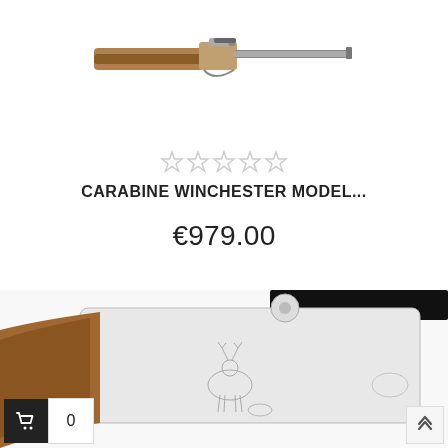[Figure (photo): Photo of a Winchester rifle (bolt-action) with wooden stock, shown from the side, cropped at top of page]
[Figure (other): Five empty/unfilled star rating icons in a row, indicating no reviews]
CARABINE WINCHESTER MODEL...
€979.00
[Figure (photo): Close-up photo of a rifle action/receiver with engraved animal (deer) on silver/chrome receiver and wooden stock, black barrel visible at top]
0